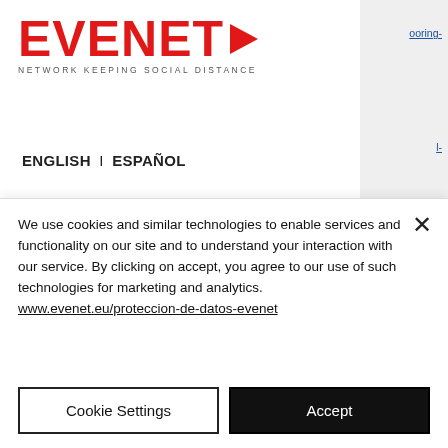[Figure (logo): EVENET logo with red bold text and right-pointing red arrow, tagline NETWORK KEEPING SOCIAL DISTANCE]
ENGLISH | ESPAÑOL
[Figure (infographic): Six circular gray social media icons: WhatsApp, Facebook, Instagram, LinkedIn, Twitter, YouTube]
flooring/
https://golinkwood.com/engineered-wood-flooring-reviews-pros-and-cons-prices-best-brands-2022/
We use cookies and similar technologies to enable services and functionality on our site and to understand your interaction with our service. By clicking on accept, you agree to our use of such technologies for marketing and analytics. www.evenet.eu/proteccion-de-datos-evenet
Cookie Settings
Accept